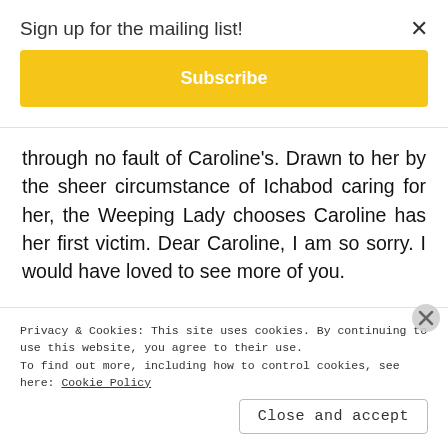Sign up for the mailing list!
Subscribe
through no fault of Caroline's. Drawn to her by the sheer circumstance of Ichabod caring for her, the Weeping Lady chooses Caroline has her first victim. Dear Caroline, I am so sorry. I would have loved to see more of you.
[Figure (photo): Dark scene from a TV show or film with a dark background]
Privacy & Cookies: This site uses cookies. By continuing to use this website, you agree to their use.
To find out more, including how to control cookies, see here: Cookie Policy
Close and accept